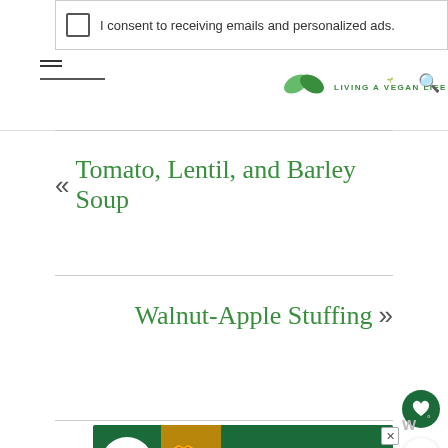I consent to receiving emails and personalized ads.
[Figure (logo): Green leaf logo with 'LIVING A VEGAN LIFE' brand text]
« Tomato, Lentil, and Barley Soup
Walnut-Apple Stuffing »
[Figure (other): Heart favorite button (dark green circle with white heart icon)]
[Figure (other): Share button (white circle with share icon)]
[Figure (other): Advertisement banner: cookies for kid cancer - your HOBBY is their HOPE]
[Figure (other): Wordmark logo in grey (stylized W with degree symbol)]